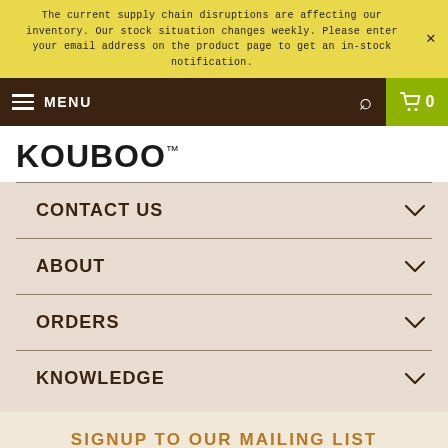The current supply chain disruptions are affecting our inventory. Our stock situation changes weekly. Please enter your email address on the product page to get an in-stock notification.
MENU  🔍  🛒 0
[Figure (logo): KOUBOO logo in bold black text with trademark symbol]
CONTACT US
ABOUT
ORDERS
KNOWLEDGE
SIGNUP TO OUR MAILING LIST